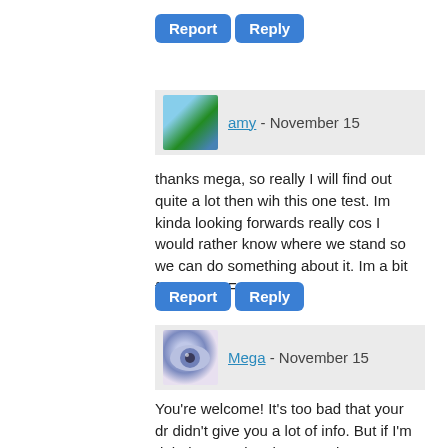[Figure (other): Report and Reply buttons at top]
[Figure (other): Comment header with amy avatar and name 'amy - November 15' on grey background]
thanks mega, so really I will find out quite a lot then wih this one test. Im kinda looking forwards really cos I would rather know where we stand so we can do something about it. Im a bit fed up of BFNs now!!!
[Figure (other): Report and Reply buttons below amy comment]
[Figure (other): Comment header with Mega avatar (eye image) and name 'Mega - November 15' on grey background]
You're welcome! It's too bad that your dr didn't give you a lot of info. But if I'm right in guessing that your dr was talking about